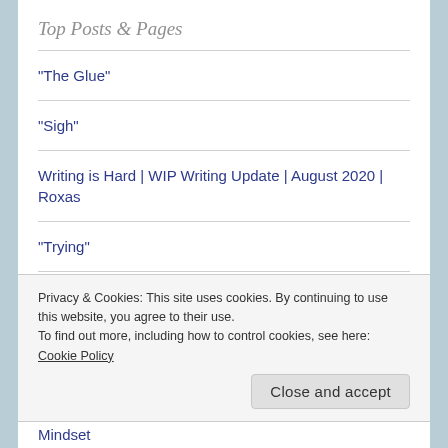Top Posts & Pages
"The Glue"
"Sigh"
Writing is Hard | WIP Writing Update | August 2020 | Roxas
"Trying"
"Imagination"
Privacy & Cookies: This site uses cookies. By continuing to use this website, you agree to their use.
To find out more, including how to control cookies, see here: Cookie Policy
Close and accept
Mindset